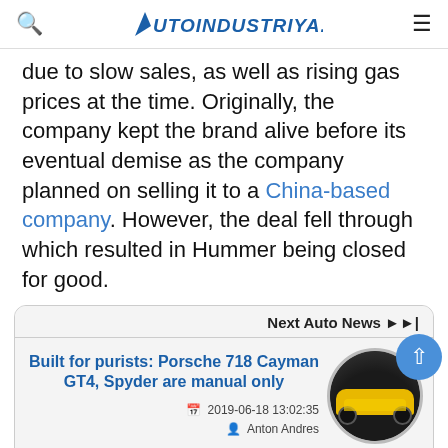AUTOINDUSTRIYA.COM
due to slow sales, as well as rising gas prices at the time. Originally, the company kept the brand alive before its eventual demise as the company planned on selling it to a China-based company. However, the deal fell through which resulted in Hummer being closed for good.
Next Auto News
Built for purists: Porsche 718 Cayman GT4, Spyder are manual only
2019-06-18 13:02:35
Anton Andres
[Figure (photo): Yellow Porsche 718 Cayman GT4 car in circular thumbnail]
0 Comments
Previous Auto News